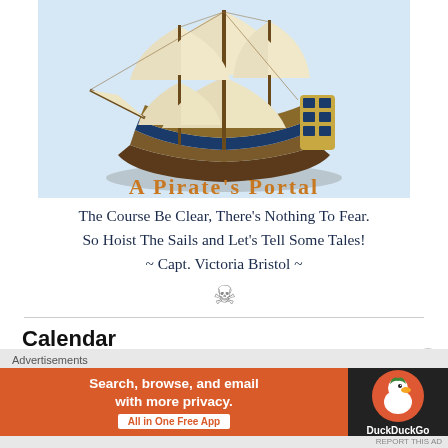[Figure (illustration): A Pirate's Portal banner image featuring a tall sailing ship with white sails on a light blue background, with the text 'A Pirate's Portal' in orange decorative font below the ship.]
The Course Be Clear, There's Nothing To Fear.
So Hoist The Sails and Let's Tell Some Tales!
~ Capt. Victoria Bristol ~
[Figure (illustration): Skull and crossbones emoji/symbol in gray]
Calendar
[Figure (screenshot): Advertisement banner: DuckDuckGo ad with orange background on left reading 'Search, browse, and email with more privacy. All in One Free App' and dark background on right with DuckDuckGo duck logo.]